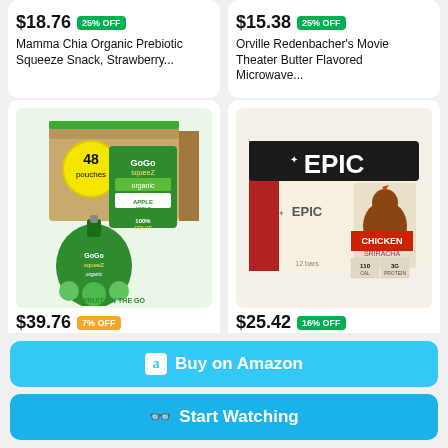$18.76 25% OFF
Mamma Chia Organic Prebiotic Squeeze Snack, Strawberry...
$15.38 25% OFF
Orville Redenbacher's Movie Theater Butter Flavored Microwave...
[Figure (photo): GoGo squeeZ Organic Apple Apple 48 pouches box product image]
$39.76 7% OFF
[Figure (photo): EPIC Chicken Sriracha bars box product image]
$25.42 16% OFF
Buy on Amazon
Start Watching